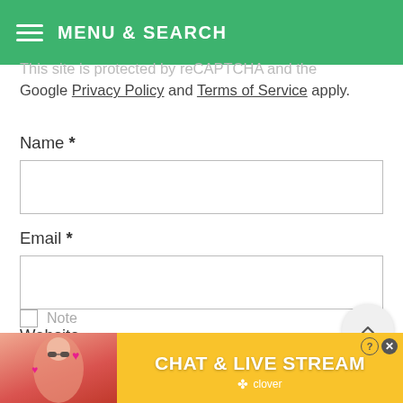MENU & SEARCH
This site is protected by reCAPTCHA and the Google Privacy Policy and Terms of Service apply.
Name *
Email *
Website
[Figure (screenshot): Advertisement banner: CHAT & LIVE STREAM - clover]
Note: